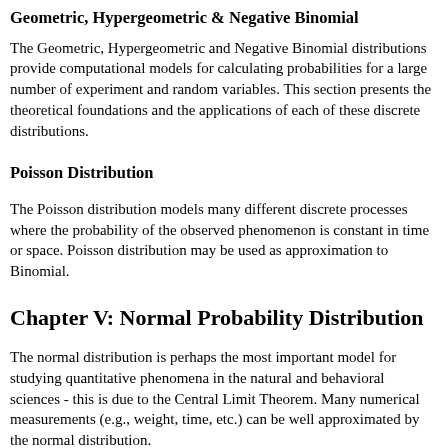Geometric, Hypergeometric & Negative Binomial
The Geometric, Hypergeometric and Negative Binomial distributions provide computational models for calculating probabilities for a large number of experiment and random variables. This section presents the theoretical foundations and the applications of each of these discrete distributions.
Poisson Distribution
The Poisson distribution models many different discrete processes where the probability of the observed phenomenon is constant in time or space. Poisson distribution may be used as approximation to Binomial.
Chapter V: Normal Probability Distribution
The normal distribution is perhaps the most important model for studying quantitative phenomena in the natural and behavioral sciences - this is due to the Central Limit Theorem. Many numerical measurements (e.g., weight, time, etc.) can be well approximated by the normal distribution.